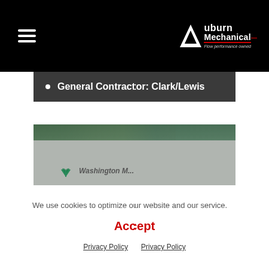[Figure (logo): Auburn Mechanical logo on black navigation bar with hamburger menu icon on left and triangle logo mark with company name and tagline on right]
General Contractor: Clark/Lewis
[Figure (photo): Exterior photo of Washington Mutual or similar building with green trees/vines on facade, teal wheat logo, and city buildings in background]
We use cookies to optimize our website and our service.
Accept
Privacy Policy   Privacy Policy